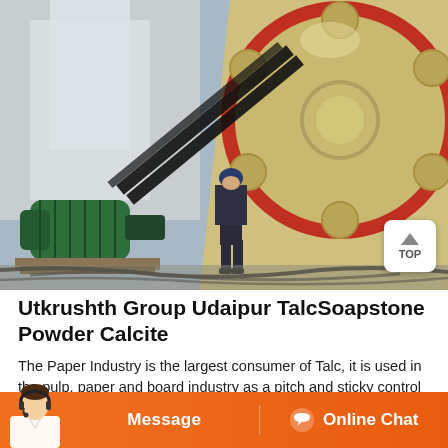[Figure (photo): Industrial scene showing a large jaw crusher machine with a prominent flywheel (cream/beige colored with red rim and circular holes), a green electric motor on the left, and a worker in dark uniform and blue hard hat standing between the motor and the crusher. Heavy black drive belts connect the motor to the flywheel. The scene is outdoors at an industrial facility.]
Utkrushth Group Udaipur TalcSoapstone Powder Calcite
The Paper Industry is the largest consumer of Talc, it is used in the pulp, paper and board industry as a pitch and sticky control agent, as a coating